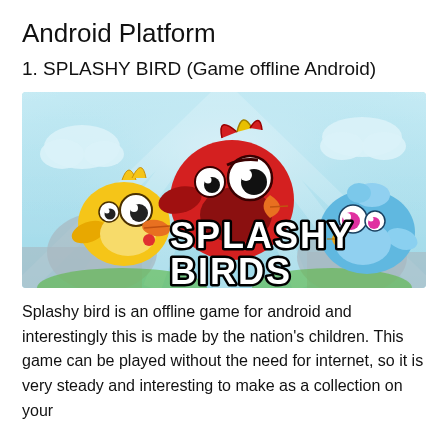Android Platform
1. SPLASHY BIRD (Game offline Android)
[Figure (illustration): Splashy Birds game promotional image showing three cartoon birds — a yellow bird on the left, a large red bird in the center, and a blue bird on the right — with the text 'SPLASHY BIRDS' in bold blocky letters on a light blue sky background.]
Splashy bird is an offline game for android and interestingly this is made by the nation's children. This game can be played without the need for internet, so it is very steady and interesting to make as a collection on your